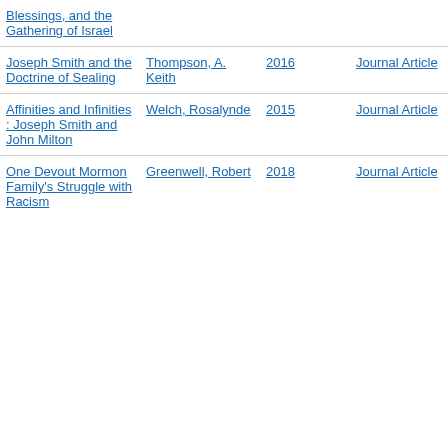| Title | Author | Year | Type |
| --- | --- | --- | --- |
| Blessings, and the Gathering of Israel |  |  |  |
| Joseph Smith and the Doctrine of Sealing | Thompson, A. Keith | 2016 | Journal Article |
| Affinities and Infinities : Joseph Smith and John Milton | Welch, Rosalynde | 2015 | Journal Article |
| One Devout Mormon Family's Struggle with Racism | Greenwell, Robert | 2018 | Journal Article |